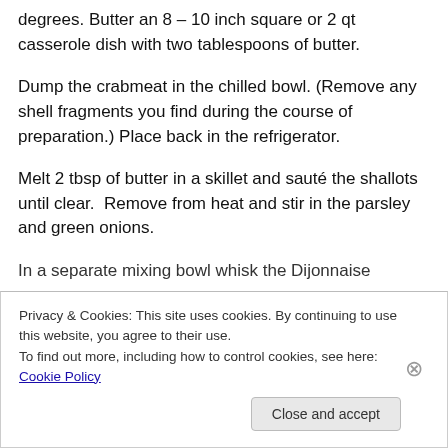degrees. Butter an 8 – 10 inch square or 2 qt casserole dish with two tablespoons of butter.
Dump the crabmeat in the chilled bowl. (Remove any shell fragments you find during the course of preparation.) Place back in the refrigerator.
Melt 2 tbsp of butter in a skillet and sauté the shallots until clear.  Remove from heat and stir in the parsley and green onions.
In a separate mixing bowl whisk the Dijonnaise
Privacy & Cookies: This site uses cookies. By continuing to use this website, you agree to their use.
To find out more, including how to control cookies, see here: Cookie Policy